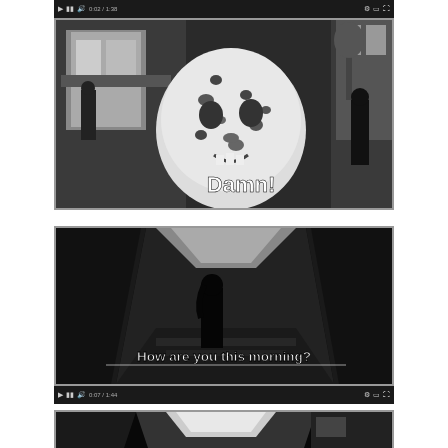[Figure (screenshot): Video player screenshot showing black and white street scene with large decorative spotted skull/animal head in foreground and text overlay 'Damn!' in white bold font. Video controls bar at top.]
[Figure (screenshot): Video player screenshot showing black and white narrow alley/street scene with person walking. Text overlay reads 'How are you this morning?' in bold white with dark outline. Video controls bar at bottom.]
[Figure (screenshot): Partial video player screenshot showing black and white narrow alley scene, cropped at bottom of page.]